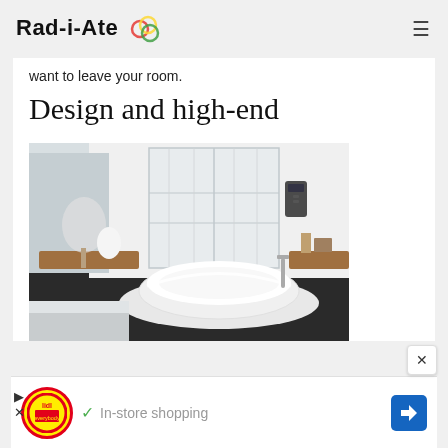Rad-i-Ate
want to leave your room.
Design and high-end
[Figure (photo): Elegant bedroom with a freestanding white bathtub, wooden side tables, a lamp, and large white French doors in the background. Interior design / high-end hotel room photo.]
✓ In-store shopping